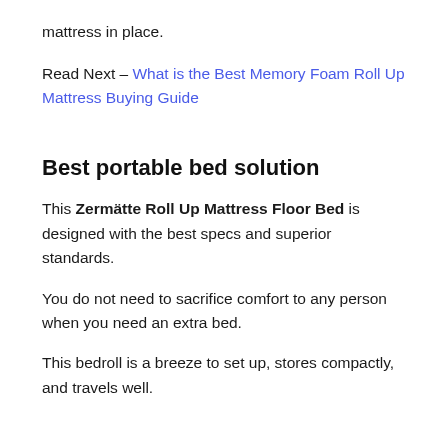mattress in place.
Read Next – What is the Best Memory Foam Roll Up Mattress Buying Guide
Best portable bed solution
This Zermätte Roll Up Mattress Floor Bed is designed with the best specs and superior standards.
You do not need to sacrifice comfort to any person when you need an extra bed.
This bedroll is a breeze to set up, stores compactly, and travels well.